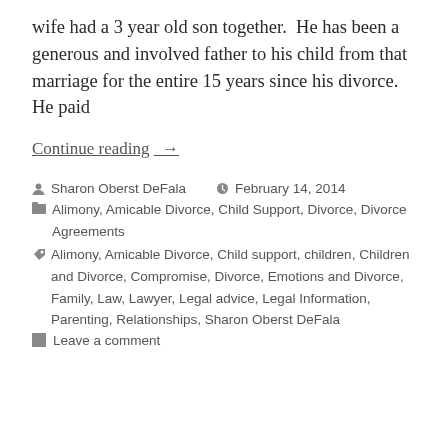wife had a 3 year old son together.  He has been a generous and involved father to his child from that marriage for the entire 15 years since his divorce. He paid
Continue reading  →
Sharon Oberst DeFala   February 14, 2014
Alimony, Amicable Divorce, Child Support, Divorce, Divorce Agreements
Alimony, Amicable Divorce, Child support, children, Children and Divorce, Compromise, Divorce, Emotions and Divorce, Family, Law, Lawyer, Legal advice, Legal Information, Parenting, Relationships, Sharon Oberst DeFala
Leave a comment